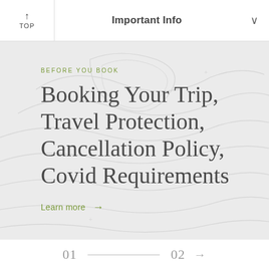Important Info
Booking Your Trip, Travel Protection, Cancellation Policy, Covid Requirements
BEFORE YOU BOOK
Learn more →
01  02  →